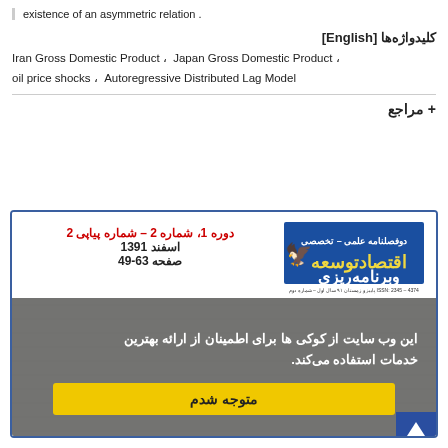existence of an asymmetric relation .
کلیدواژه‌ها [English]
Iran Gross Domestic Product ،  Japan Gross Domestic Product ، oil price shocks ،  Autoregressive Distributed Lag Model
+ مراجع
[Figure (other): Journal card for 'اقتصاد توسعه و برنامه‌ریزی' — a bi-annual academic journal. Shows issue info: دوره 1، شماره 2 – شماره پیاپی 2, اسفند 1391, صفحه 63-49. Overlaid with a cookie consent banner in Persian: 'این وب سایت از کوکی ها برای اطمینان از ارائه بهترین خدمات استفاده می‌کند.' with a yellow button labeled 'متوجه شدم'.]